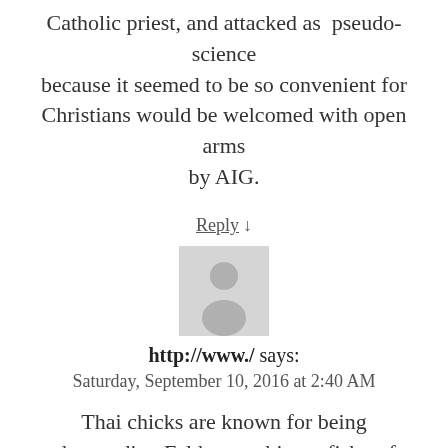Catholic priest, and attacked as pseudo-science because it seemed to be so convenient for Christians would be welcomed with open arms by AIG.
Reply ↓
[Figure (illustration): Generic user avatar placeholder image - silhouette of a person on grey background]
http://www./ says:
Saturday, September 10, 2016 at 2:40 AM
Thai chicks are known for being understanding.Feltbot got bigger fish to fry now. Feltbot is faithfuls' last line of defense against that dark cloud aka Joe Lacob.Fitz is still callin' plays